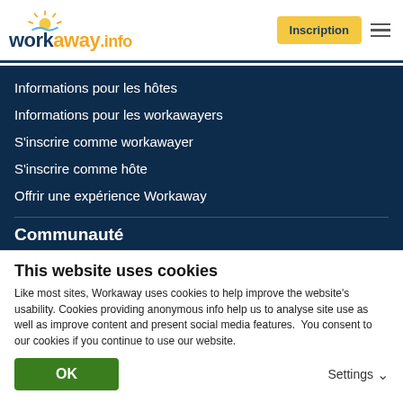[Figure (logo): Workaway.info logo with sun rays graphic, blue and yellow/orange text]
Informations pour les hôtes
Informations pour les workawayers
S'inscrire comme workawayer
S'inscrire comme hôte
Offrir une expérience Workaway
Communauté
Workaway Blog
Galerie de photos Workaway
Workaway.tv
Logos et posters
This website uses cookies
Like most sites, Workaway uses cookies to help improve the website's usability. Cookies providing anonymous info help us to analyse site use as well as improve content and present social media features.  You consent to our cookies if you continue to use our website.